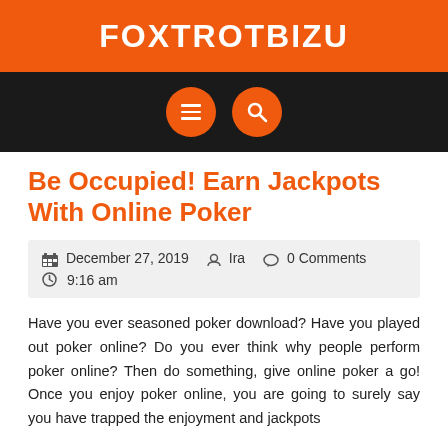FOXTROTBIZU
[Figure (screenshot): Navigation bar with dark background and two orange circular buttons: hamburger menu icon and search icon]
Be Occupied! Earn Jackpots With Online Poker
December 27, 2019   Ira   0 Comments   9:16 am
Have you ever seasoned poker download? Have you played out poker online? Do you ever think why people perform poker online? Then do something, give online poker a go! Once you enjoy poker online, you are going to surely say you have trapped the enjoyment and jackpots